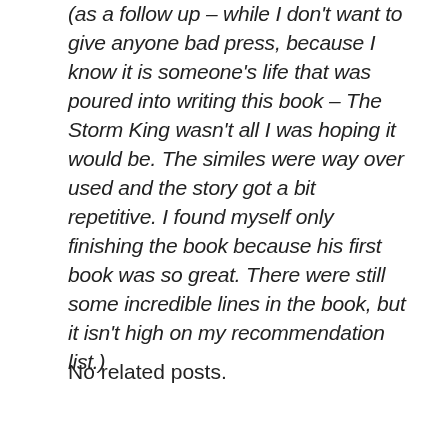(as a follow up – while I don't want to give anyone bad press, because I know it is someone's life that was poured into writing this book – The Storm King wasn't all I was hoping it would be. The similes were way over used and the story got a bit repetitive. I found myself only finishing the book because his first book was so great. There were still some incredible lines in the book, but it isn't high on my recommendation list.)
No related posts.